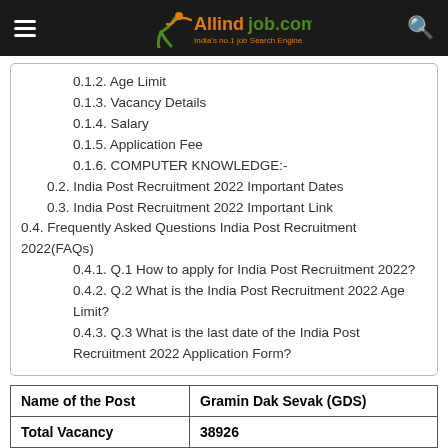Allindjob.com — India's no.1 job Search Engine
0.1.2. Age Limit
0.1.3. Vacancy Details
0.1.4. Salary
0.1.5. Application Fee
0.1.6. COMPUTER KNOWLEDGE:-
0.2. India Post Recruitment 2022 Important Dates
0.3. India Post Recruitment 2022 Important Link
0.4. Frequently Asked Questions India Post Recruitment 2022(FAQs)
0.4.1. Q.1 How to apply for India Post Recruitment 2022?
0.4.2. Q.2 What is the India Post Recruitment 2022 Age Limit?
0.4.3. Q.3 What is the last date of the India Post Recruitment 2022 Application Form?
| Name of the Post | Gramin Dak Sevak (GDS) |
| --- | --- |
| Total Vacancy | 38926 |